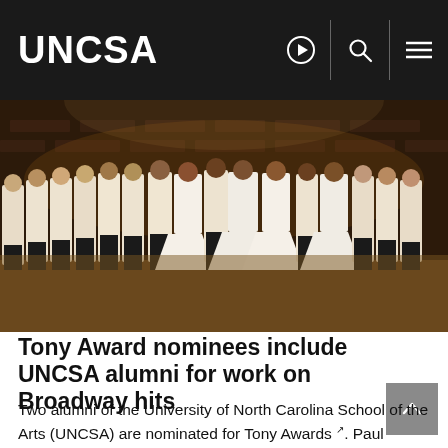UNCSA
[Figure (photo): Cast of Hamilton musical on stage in period costumes (white colonial-era outfits), lined up across the stage in a large ensemble shot.]
Tony Award nominees include UNCSA alumni for work on Broadway hits
Two alumni of the University of North Carolina School of the Arts (UNCSA) are nominated for Tony Awards. Paul Tazewell, a 1986 graduate of